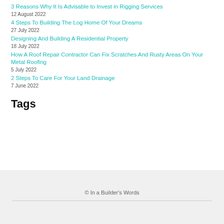3 Reasons Why It Is Advisable to Invest in Rigging Services
12 August 2022
4 Steps To Building The Log Home Of Your Dreams
27 July 2022
Designing And Building A Residential Property
18 July 2022
How A Roof Repair Contractor Can Fix Scratches And Rusty Areas On Your Metal Roofing
5 July 2022
2 Steps To Care For Your Land Drainage
7 June 2022
Tags
© In a Builder's Words